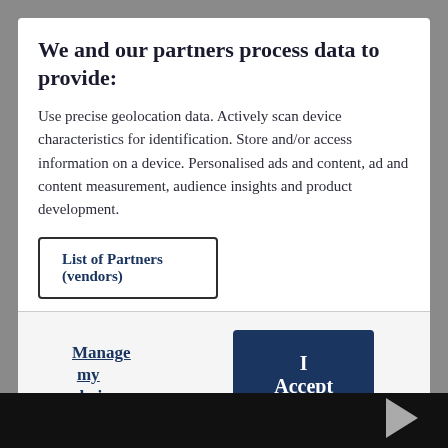We and our partners process data to provide:
Use precise geolocation data. Actively scan device characteristics for identification. Store and/or access information on a device. Personalised ads and content, ad and content measurement, audience insights and product development.
List of Partners (vendors)
Manage my choices
I Accept